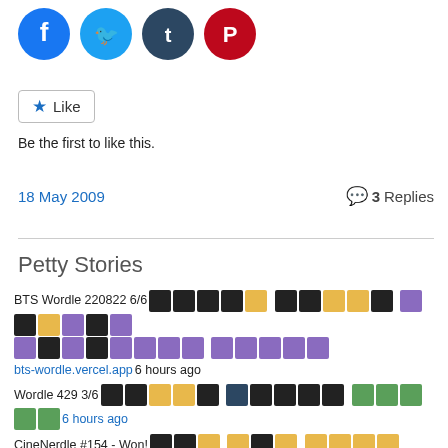[Figure (other): Social sharing icons: Facebook (blue circle), Twitter (light blue circle), Tumblr (dark blue circle), Pinterest (red circle)]
Like
Be the first to like this.
18 May 2009
💬 3 Replies
Petty Stories
BTS Wordle 220822 6/6 [colored squares] bts-wordle.vercel.app 6 hours ago
Wordle 429 3/6 [colored squares] 6 hours ago
CineNerdle #154 - Won! [colored squares] cinenerdle.app 6 hours ago
#Flickle #132 🎬 [colored squares] ❌ 📅 Daily Streak: 1 (Best 16) 💀 Loss